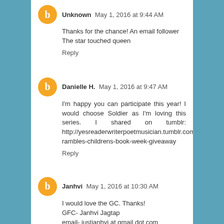Unknown May 1, 2016 at 9:44 AM
Thanks for the chance! An email follower
The star touched queen
Reply
Danielle H. May 1, 2016 at 9:47 AM
I'm happy you can participate this year! I would choose Soldier as I'm loving this series. I shared on tumblr: http://yesreaderwriterpoetmusician.tumblr.com/post/143682392562/literary-rambles-childrens-book-week-giveaway
Reply
Janhvi May 1, 2016 at 10:30 AM
I would love the GC. Thanks!
GFC- Janhvi Jagtap
email- justjanhvi at gmail dot com